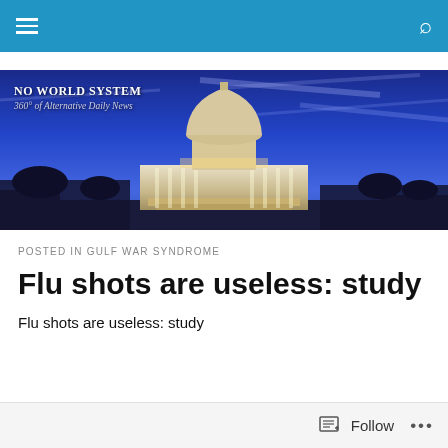NO WORLD SYSTEM — navigation bar
[Figure (photo): Website banner showing the US Capitol building at dusk/night with a blue sky background, overlaid with site name 'NO WORLD SYSTEM' and tagline '360° of Alternative Daily News']
POSTED IN GULF WAR SYNDROME
Flu shots are useless: study
Flu shots are useless: study
Follow ...